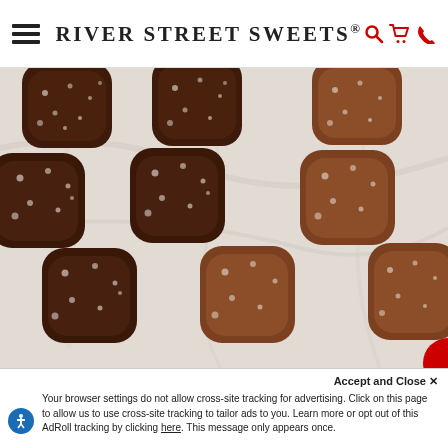RIVER STREET SWEETS®
[Figure (photo): Overhead close-up photo of rows of chocolate-covered caramel candies sprinkled with sea salt on a marble surface. Some are dark chocolate coated and some are milk chocolate coated.]
Accept and Close ×
Your browser settings do not allow cross-site tracking for advertising. Click on this page to allow us to use cross-site tracking to tailor ads to you. Learn more or opt out of this AdRoll tracking by clicking here. This message only appears once.